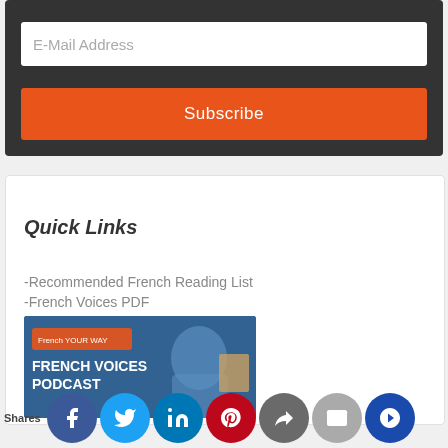E-Mail Address
Subscribe
Quick Links
-Recommended French Reading List
-French Voices PDF
[Figure (photo): French Voices Podcast banner with woman and French Your Way logo]
Shares